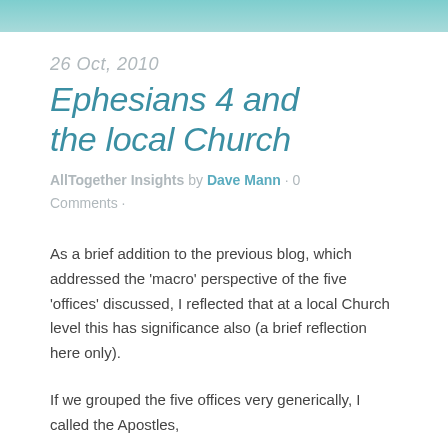[Figure (photo): Top portion of a teal/turquoise colored image, partially cropped at the top of the page]
26 Oct, 2010
Ephesians 4 and the local Church
AllTogether Insights by Dave Mann · 0 Comments ·
As a brief addition to the previous blog, which addressed the 'macro' perspective of the five 'offices' discussed, I reflected that at a local Church level this has significance also (a brief reflection here only).
If we grouped the five offices very generically, I called the Apostles,